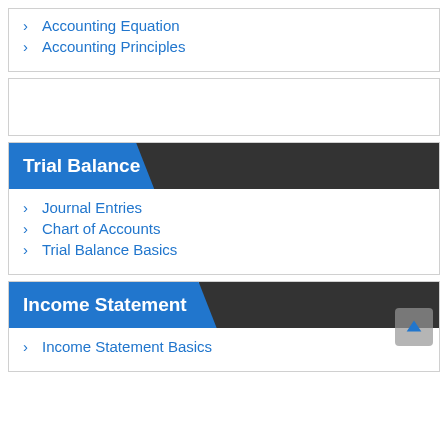> Accounting Equation
> Accounting Principles
Trial Balance
> Journal Entries
> Chart of Accounts
> Trial Balance Basics
Income Statement
> Income Statement Basics